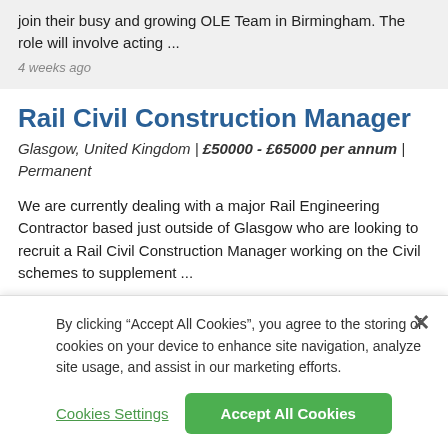join their busy and growing OLE Team in Birmingham. The role will involve acting ...
4 weeks ago
Rail Civil Construction Manager
Glasgow, United Kingdom | £50000 - £65000 per annum | Permanent
We are currently dealing with a major Rail Engineering Contractor based just outside of Glasgow who are looking to recruit a Rail Civil Construction Manager working on the Civil schemes to supplement ...
By clicking “Accept All Cookies”, you agree to the storing of cookies on your device to enhance site navigation, analyze site usage, and assist in our marketing efforts.
Cookies Settings
Accept All Cookies